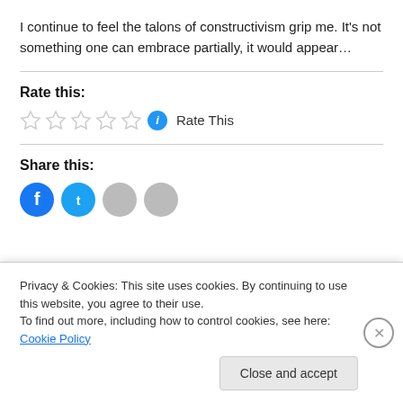I continue to feel the talons of constructivism grip me. It's not something one can embrace partially, it would appear…
Rate this:
Rate This
Share this:
Privacy & Cookies: This site uses cookies. By continuing to use this website, you agree to their use.
To find out more, including how to control cookies, see here: Cookie Policy
Close and accept